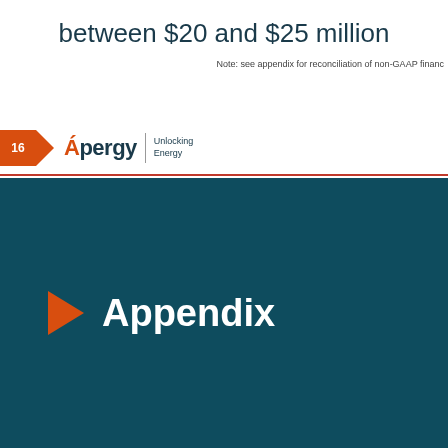between $20 and $25 million
Note: see appendix for reconciliation of non-GAAP financ
16  Apergy | Unlocking Energy
Appendix